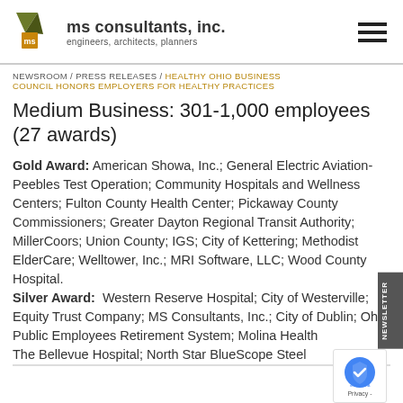ms consultants, inc. — engineers, architects, planners
NEWSROOM / PRESS RELEASES / HEALTHY OHIO BUSINESS COUNCIL HONORS EMPLOYERS FOR HEALTHY PRACTICES
Medium Business: 301-1,000 employees (27 awards)
Gold Award: American Showa, Inc.; General Electric Aviation-Peebles Test Operation; Community Hospitals and Wellness Centers; Fulton County Health Center; Pickaway County Commissioners; Greater Dayton Regional Transit Authority; MillerCoors; Union County; IGS; City of Kettering; Methodist ElderCare; Welltower, Inc.; MRI Software, LLC; Wood County Hospital.
Silver Award: Western Reserve Hospital; City of Westerville; Equity Trust Company; MS Consultants, Inc.; City of Dublin; Ohio Public Employees Retirement System; Molina Health; The Bellevue Hospital; North Star BlueScope Steel